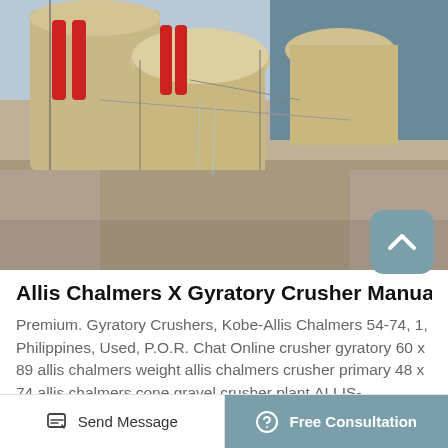[Figure (photo): Industrial gyratory crusher machinery photograph showing large tan/beige crusher units with red hydraulic components and metal framework at a mining/aggregate plant facility]
Allis Chalmers X Gyratory Crusher Manual
Premium. Gyratory Crushers, Kobe-Allis Chalmers 54-74, 1, Philippines, Used, P.O.R. Chat Online crusher gyratory 60 x 89 allis chalmers weight allis chalmers crusher primary 48 x 74 allis chalmers cone gravel crusher plant.ALLIS-CHALMERS Crusher Aggregate Equipment jor